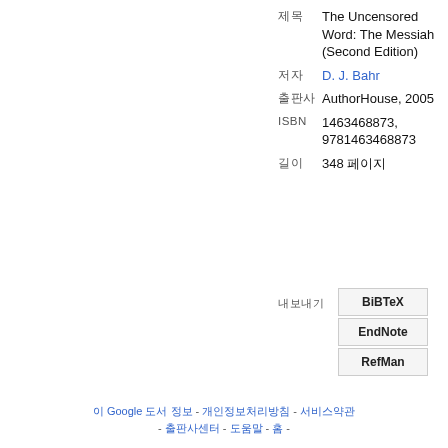| 제목 | The Uncensored Word: The Messiah (Second Edition) |
| 저자 | D. J. Bahr |
| 출판사 | AuthorHouse, 2005 |
| ISBN | 1463468873, 9781463468873 |
| 길이 | 348 페이지 |
내보내기 BiBTeX EndNote RefMan
이 Google 도서 정보 - 개인정보처리방침 - 서비스약관 - 출판사센터 - 도움말 - 홈 -